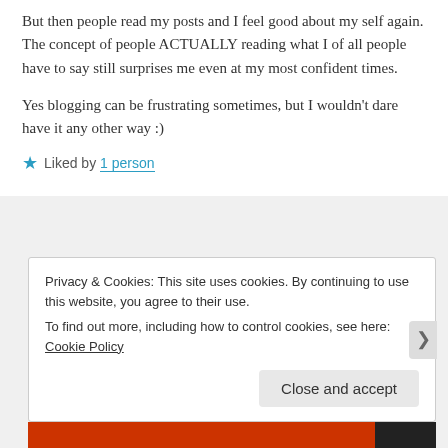But then people read my posts and I feel good about my self again. The concept of people ACTUALLY reading what I of all people have to say still surprises me even at my most confident times.
Yes blogging can be frustrating sometimes, but I wouldn't dare have it any other way :)
★ Liked by 1 person
Privacy & Cookies: This site uses cookies. By continuing to use this website, you agree to their use.
To find out more, including how to control cookies, see here: Cookie Policy